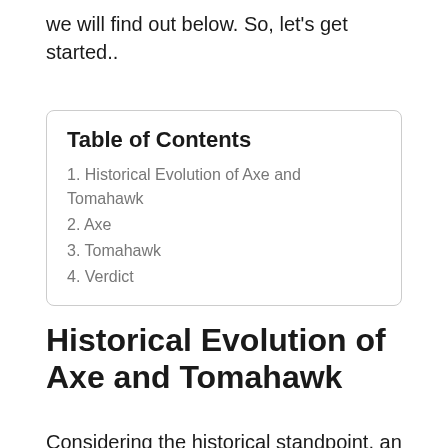we will find out below. So, let's get started..
1. Historical Evolution of Axe and Tomahawk
2. Axe
3. Tomahawk
4. Verdict
Historical Evolution of Axe and Tomahawk
Considering the historical standpoint, an